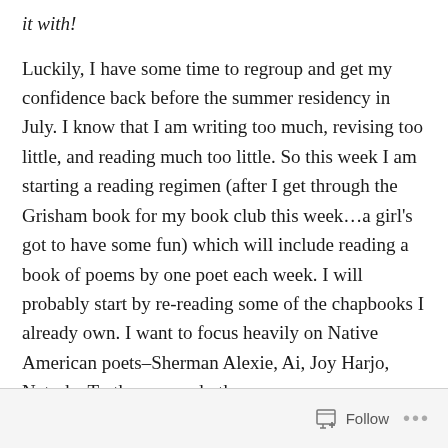it with!
Luckily, I have some time to regroup and get my confidence back before the summer residency in July. I know that I am writing too much, revising too little, and reading much too little. So this week I am starting a reading regimen (after I get through the Grisham book for my book club this week…a girl's got to have some fun) which will include reading a book of poems by one poet each week. I will probably start by re-reading some of the chapbooks I already own. I want to focus heavily on Native American poets–Sherman Alexie, Ai, Joy Harjo, Natasha Tretheway, and others.
I will start, of course, with Seamus Heaney (poetry god).  I
Follow ...